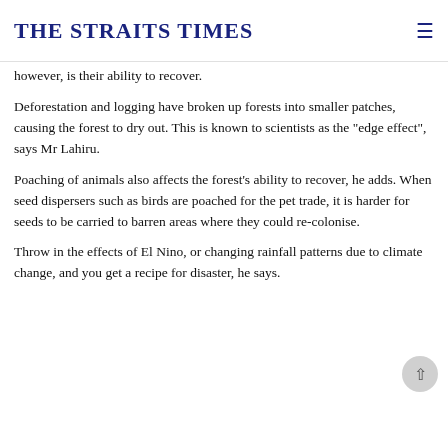THE STRAITS TIMES
however, is their ability to recover.
Deforestation and logging have broken up forests into smaller patches, causing the forest to dry out. This is known to scientists as the "edge effect", says Mr Lahiru.
Poaching of animals also affects the forest's ability to recover, he adds. When seed dispersers such as birds are poached for the pet trade, it is harder for seeds to be carried to barren areas where they could re-colonise.
Throw in the effects of El Nino, or changing rainfall patterns due to climate change, and you get a recipe for disaster, he says.